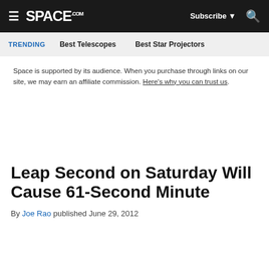SPACE.com — Subscribe — Search
TRENDING  Best Telescopes  Best Star Projectors
Space is supported by its audience. When you purchase through links on our site, we may earn an affiliate commission. Here's why you can trust us.
Leap Second on Saturday Will Cause 61-Second Minute
By Joe Rao published June 29, 2012